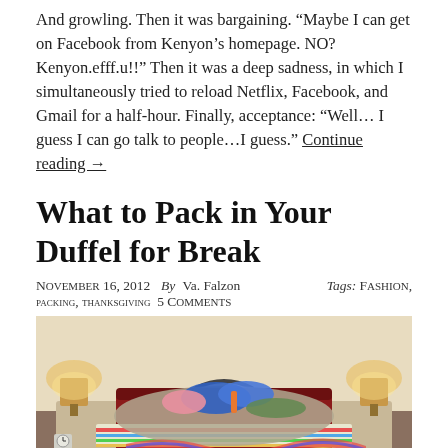And growling. Then it was bargaining. “Maybe I can get on Facebook from Kenyon’s homepage. NO? Kenyon.efff.u!!” Then it was a deep sadness, in which I simultaneously tried to reload Netflix, Facebook, and Gmail for a half-hour. Finally, acceptance: “Well… I guess I can go talk to people…I guess.” Continue reading →
What to Pack in Your Duffel for Break
November 16, 2012  By  Va. Falzon    Tags: Fashion, packing, thanksgiving  5 Comments
[Figure (photo): Photo of an overstuffed open suitcase on a bed with clothes and items piled on top, flanked by two bedside lamps.]